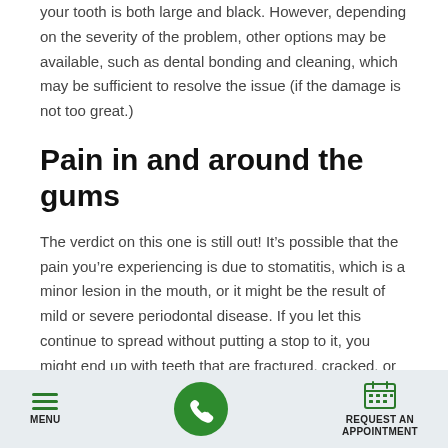your tooth is both large and black. However, depending on the severity of the problem, other options may be available, such as dental bonding and cleaning, which may be sufficient to resolve the issue (if the damage is not too great.)
Pain in and around the gums
The verdict on this one is still out! It's possible that the pain you're experiencing is due to stomatitis, which is a minor lesion in the mouth, or it might be the result of mild or severe periodontal disease. If you let this continue to spread without putting a stop to it, you might end up with teeth that are fractured, cracked, or missing, which would result in the need for more root canals (or even extractions!). We can assist you in determining if the cause of your mouth discomfort can be remedied with over-the-counter
MENU | [phone button] | REQUEST AN APPOINTMENT